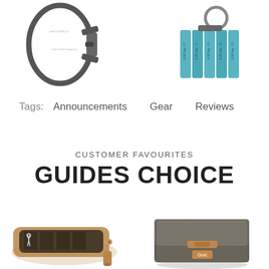[Figure (photo): Carabiner clip and set of blue fishing weights/scales on a keyring, on white background]
Tags: Announcements  Gear  Reviews
CUSTOMER FAVOURITES
GUIDES CHOICE
[Figure (photo): Two product images side by side: left is an open leather grooming/travel roll with tools; right is a waxed canvas and leather wallet/clutch bag]